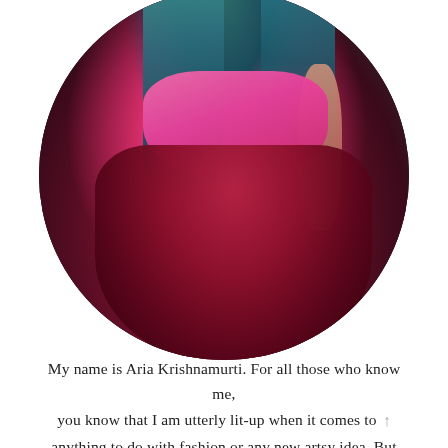[Figure (photo): Oval/circle-cropped portrait photo of a woman with blue/teal hair wearing a pink ruffled bodice top and a dark red/maroon voluminous tulle skirt, posed against a dark gray studio background.]
My name is Aria Krishnamurti. For all those who know me, you know that I am utterly lit-up when it comes to anything to do with fashion or any new artsy idea. But